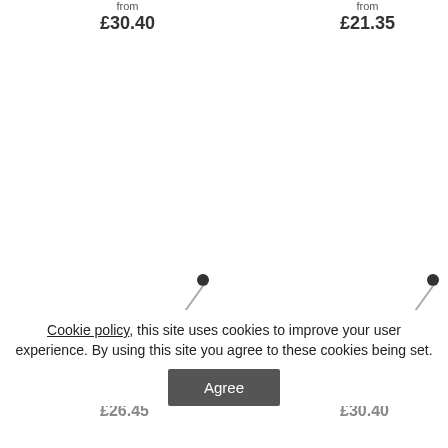from £30.40
from £21.35
[Figure (illustration): Two sewing/upholstery pin images shown as diagonal pins with dark heads]
Toulouse Stony Grey
Santa Linen Warm Grey
Cookie policy, this site uses cookies to improve your user experience. By using this site you agree to these cookies being set.
Agree
from £26.45
from £30.40